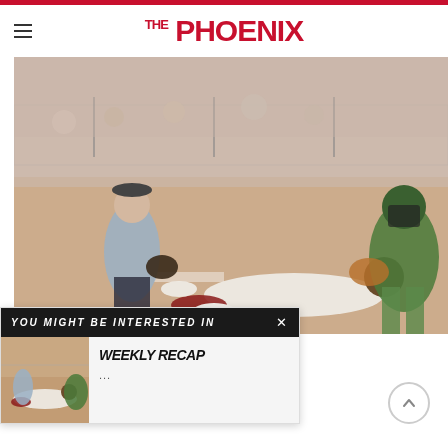THE PHOENIX
[Figure (photo): Baseball/softball game action photo showing a player sliding into home plate, with a catcher in green and yellow uniform attempting a tag, and an umpire watching closely. The field is dirt with a chain-link fence in the background.]
YOU MIGHT BE INTERESTED IN
[Figure (photo): Small thumbnail of the same baseball/softball sliding play]
WEEKLY RECAP
...